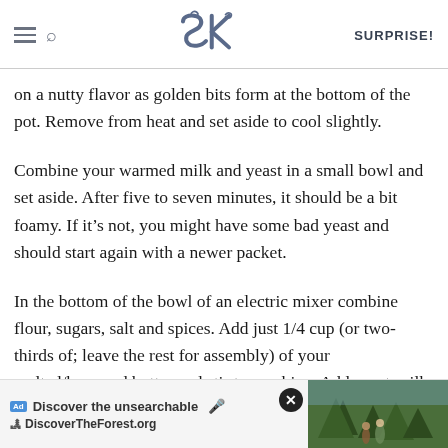SK SURPRISE!
on a nutty flavor as golden bits form at the bottom of the pot. Remove from heat and set aside to cool slightly.
Combine your warmed milk and yeast in a small bowl and set aside. After five to seven minutes, it should be a bit foamy. If it’s not, you might have some bad yeast and should start again with a newer packet.
In the bottom of the bowl of an electric mixer combine flour, sugars, salt and spices. Add just 1/4 cup (or two-thirds of; leave the rest for assembly) of your melted/browned butter and stir to combine. Add yeast-milk mixture, pumpkin and egg and mix combined. Switch mixer to a dough hook and run it for 5 minutes on low.
[Figure (screenshot): Advertisement banner: 'Discover the unsearchable / DiscoverTheForest.org' with close button and forest photo]